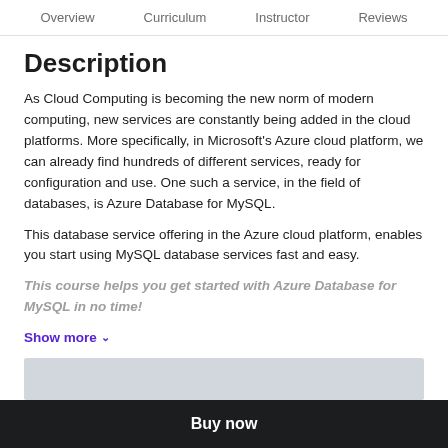Overview  Curriculum  Instructor  Reviews
Description
As Cloud Computing is becoming the new norm of modern computing, new services are constantly being added in the cloud platforms. More specifically, in Microsoft's Azure cloud platform, we can already find hundreds of different services, ready for configuration and use. One such a service, in the field of databases, is Azure Database for MySQL.
This database service offering in the Azure cloud platform, enables you start using MySQL database services fast and easy.
This course helps you get started with Azure Database for MySQL in no time!
Show more
[Figure (other): Gray bar placeholder at bottom of content area]
Buy now